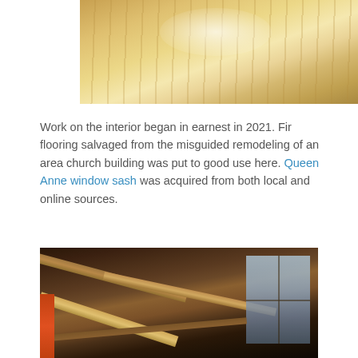[Figure (photo): Close-up photo of polished light-colored fir wood flooring with visible grain lines and a glare/reflection of light on the surface.]
Work on the interior began in earnest in 2021. Fir flooring salvaged from the misguided remodeling of an area church building was put to good use here. Queen Anne window sash was acquired from both local and online sources.
[Figure (photo): Interior photo showing the underside of a barn or building roof with exposed wooden beams and rafters, window frames visible on the right side, and an orange vertical element on the left.]